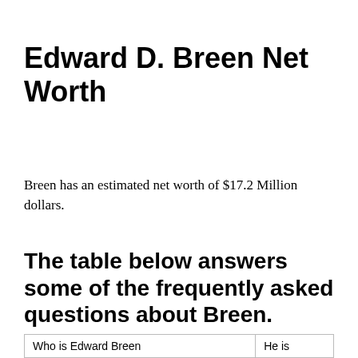Edward D. Breen Net Worth
Breen has an estimated net worth of $17.2 Million dollars.
The table below answers some of the frequently asked questions about Breen.
| Who is Edward Breen | He is... |
| --- | --- |